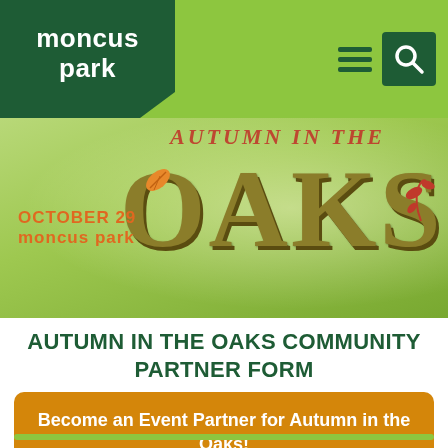moncus park
[Figure (illustration): Autumn in the Oaks event banner with large gold OAKS text, orange leaf decorations, and text reading OCTOBER 29 MONCUS PARK on a green background]
AUTUMN IN THE OAKS COMMUNITY PARTNER FORM
Become an Event Partner for Autumn in the Oaks!